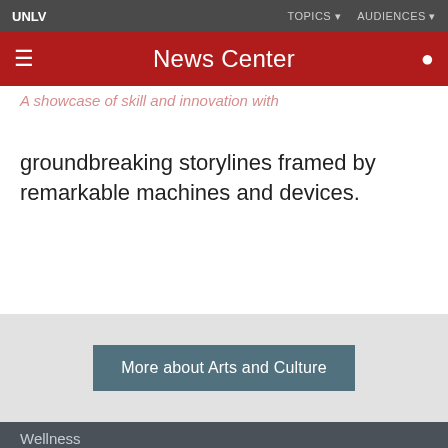UNLV | TOPICS | AUDIENCES
News Center
A showcase of skill and innovation with groundbreaking storylines framed by remarkable machines and devices.
More about Arts and Culture
Wellness
Coronavirus Information
Safety and Emergency